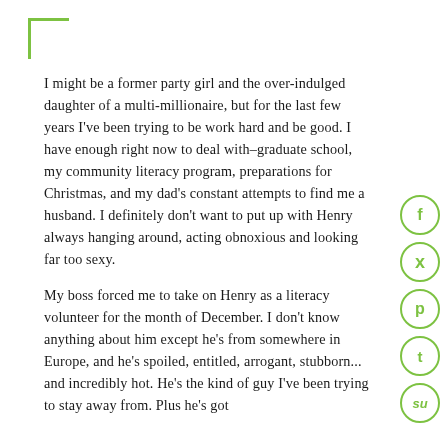[Figure (illustration): Green L-shaped corner bracket decoration in top left]
I might be a former party girl and the over-indulged daughter of a multi-millionaire, but for the last few years I've been trying to be work hard and be good. I have enough right now to deal with–graduate school, my community literacy program, preparations for Christmas, and my dad's constant attempts to find me a husband. I definitely don't want to put up with Henry always hanging around, acting obnoxious and looking far too sexy.
My boss forced me to take on Henry as a literacy volunteer for the month of December. I don't know anything about him except he's from somewhere in Europe, and he's spoiled, entitled, arrogant, stubborn... and incredibly hot. He's the kind of guy I've been trying to stay away from. Plus he's got
[Figure (infographic): Vertical column of 5 social media icon circles (Facebook f, Twitter bird, Pinterest p, Tumblr t, StumbleUpon su) in green outline style]